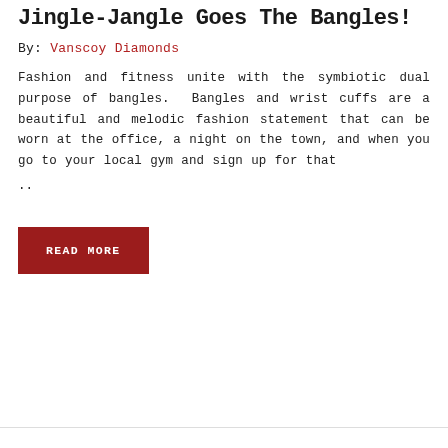Jingle-Jangle Goes The Bangles!
By: Vanscoy Diamonds
Fashion and fitness unite with the symbiotic dual purpose of bangles. Bangles and wrist cuffs are a beautiful and melodic fashion statement that can be worn at the office, a night on the town, and when you go to your local gym and sign up for that ..
READ MORE